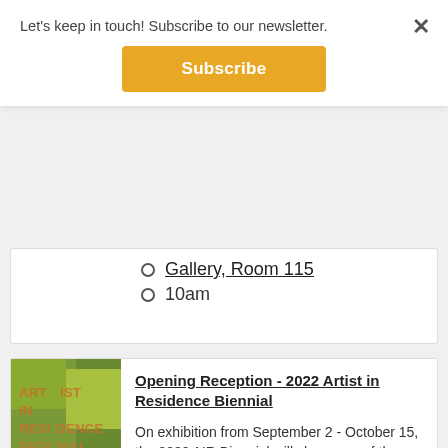Let's keep in touch! Subscribe to our newsletter.
Subscribe
Gallery, Room 115
10am
Opening Reception - 2022 Artist in Residence Biennial
On exhibition from September 2 - October 15, the 2022 AIR Biennial will showcase of the work of our past 4